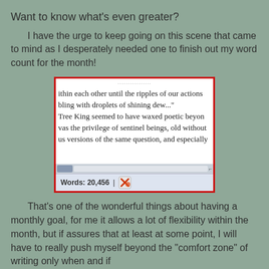Want to know what's even greater?
I have the urge to keep going on this scene that came to mind as I desperately needed one to finish out my word count for the month!
[Figure (screenshot): A screenshot of a word processor showing text about a Tree King and a word count of 20,456 in the status bar at the bottom. The text reads: '...ithin each other until the ripples of our actions' 'bling with droplets of shining dew...' 'Tree King seemed to have waxed poetic beyon' 'vas the privilege of sentinel beings, old without' 'us versions of the same question, and especially'. A scrollbar is visible and the status bar shows 'Words: 20,456' with an icon.]
That's one of the wonderful things about having a monthly goal, for me it allows a lot of flexibility within the month, but if assures that at least at some point, I will have to really push myself beyond the "comfort zone" of writing only when and if